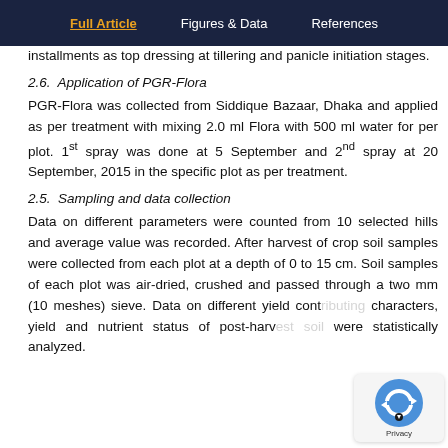Full Article | Figures & Data | References
installments as top dressing at tillering and panicle initiation stages.
2.6.  Application of PGR-Flora
PGR-Flora was collected from Siddique Bazaar, Dhaka and applied as per treatment with mixing 2.0 ml Flora with 500 ml water for per plot. 1st spray was done at 5 September and 2nd spray at 20 September, 2015 in the specific plot as per treatment.
2.5.  Sampling and data collection
Data on different parameters were counted from 10 selected hills and average value was recorded. After harvest of crop soil samples were collected from each plot at a depth of 0 to 15 cm. Soil samples of each plot was air-dried, crushed and passed through a two mm (10 meshes) sieve. Data on different yield contributing characters, yield and nutrient status of post-harvest were statistically analyzed.